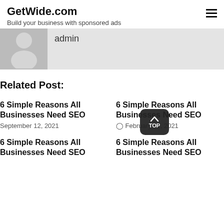GetWide.com
Build your business with sponsored ads
[Figure (illustration): Admin user avatar placeholder — grey silhouette of a person on a grey background]
admin
Related Post:
6 Simple Reasons All Businesses Need SEO
September 12, 2021
6 Simple Reasons All Businesses Need SEO
February 12, 2021
6 Simple Reasons All Businesses Need SEO
6 Simple Reasons All Businesses Need SEO